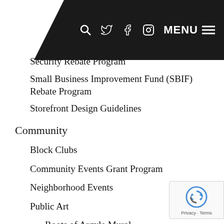[Figure (screenshot): Dark navigation bar overlay with search, Twitter, Facebook, Instagram icons and MENU text with hamburger icon]
Security Rebate Program
Small Business Improvement Fund (SBIF) Rebate Program
Storefront Design Guidelines
Community
Block Clubs
Community Events Grant Program
Neighborhood Events
Public Art
Roots of Argyle Mural
Winthrop Family Historical Garden
Development
Available Properties